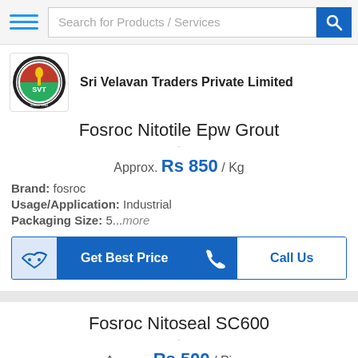Search for Products / Services
[Figure (logo): Sri Velavan Traders Private Limited company logo - circular logo with SVT text]
Sri Velavan Traders Private Limited
Fosroc Nitotile Epw Grout
Approx. Rs 850 / Kg
Brand: fosroc
Usage/Application: Industrial
Packaging Size: 5...more
Get Best Price
Call Us
Fosroc Nitoseal SC600
Approx. Rs 500 / Piece
Brand: Fosroc